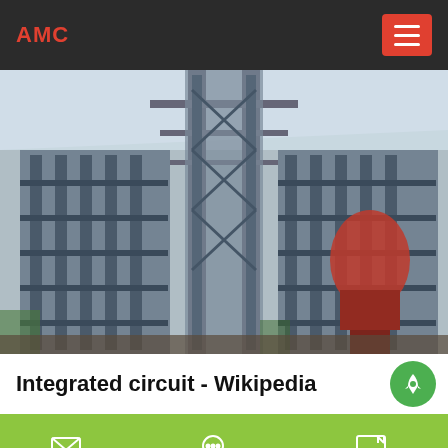AMC
[Figure (photo): Industrial heavy machinery facility interior showing large steel framework structures, conveyor systems, and processing equipment inside a large warehouse with skylights]
Integrated circuit - Wikipedia
email  onlineChat  message